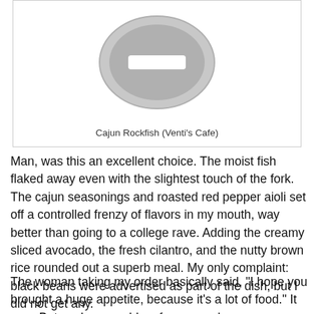[Figure (photo): Placeholder image with a grey oval/circle containing a white minus/dash symbol, representing an unavailable food photo for Cajun Rockfish at Venti's Cafe]
Cajun Rockfish (Venti's Cafe)
Man, was this an excellent choice. The moist fish flaked away even with the slightest touch of the fork. The cajun seasonings and roasted red pepper aioli set off a controlled frenzy of flavors in my mouth, way better than going to a college rave. Adding the creamy sliced avocado, the fresh cilantro, and the nutty brown rice rounded out a superb meal. My only complaint: black beans were advertised as part of the dish, but I did not get any.
The woman taking my order basically said, "I hope you brought a huge appetite, because it's a lot of food." It was. But yeah, no problem for me, ma'am;